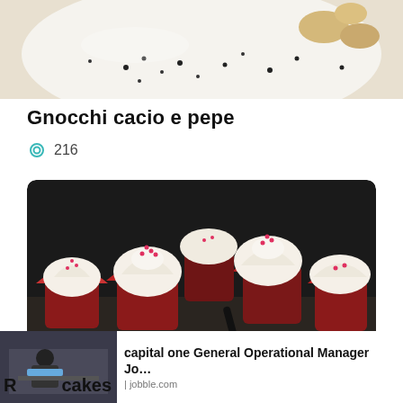[Figure (photo): Top portion of a food dish – gnocchi on a plate with black pepper specks, partially cropped]
Gnocchi cacio e pepe
👁 216
[Figure (photo): Dark-background photo of several red velvet cupcakes with white cream cheese frosting and pink sprinkles arranged on a surface, with video player icons overlaid]
[Figure (photo): Ad: Capital One General Operational Manager job listing thumbnail with office scene, from jobble.com]